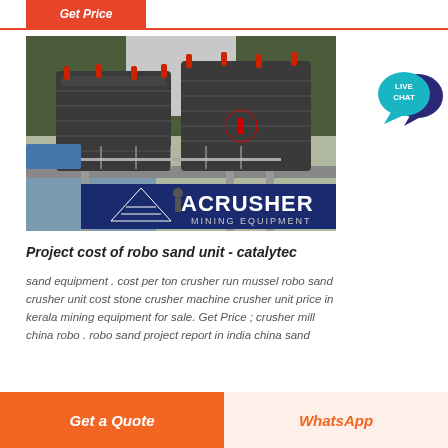Get Price
[Figure (photo): Industrial mining crushers (ACRUSHER Mining Equipment) on an elevated platform above a river, with surrounding forest. Two large dark-colored crusher machines visible with red markings. ACRUSHER MINING EQUIPMENT logo banner visible at bottom of image.]
Project cost of robo sand unit - catalytec
sand equipment . cost per ton crusher run mussel robo sand crusher unit cost stone crusher machine crusher unit price in kerala mining equipment for sale. Get Price ; crusher mill china robo . robo sand project report in india china sand
[Figure (logo): Live Chat speech bubble icon in teal and dark navy blue]
Get a Quote   WhatsApp